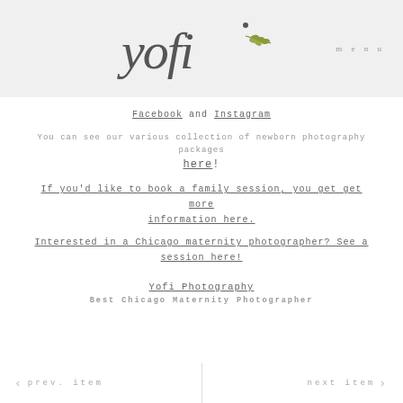[Figure (logo): Yofi Photography script logo with decorative leaf branch, on grey background header]
menu
Facebook and Instagram
You can see our various collection of newborn photography packages here!
If you'd like to book a family session, you get get more information here.
Interested in a Chicago maternity photographer? See a session here!
Yofi Photography
Best Chicago Maternity Photographer
‹ prev. item    next item ›